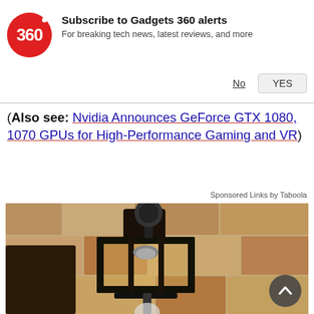[Figure (screenshot): Gadgets 360 subscription notification banner with red circular logo showing '360', title 'Subscribe to Gadgets 360 alerts', subtitle 'For breaking tech news, latest reviews, and more', and No/YES buttons]
(Also see: Nvidia Announces GeForce GTX 1080, 1070 GPUs for High-Performance Gaming and VR)
Sponsored Links by Taboola
[Figure (photo): Photo of a black outdoor lantern wall light mounted on a textured stone/stucco wall, with a round back-to-top arrow button in the bottom right corner]